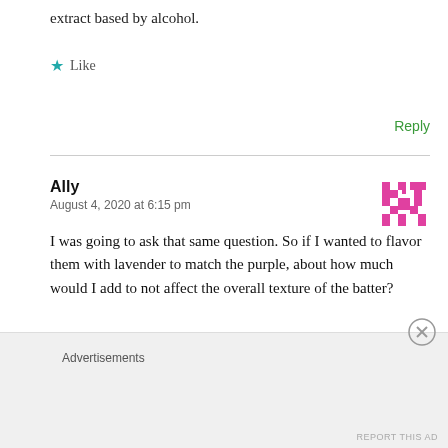extract based by alcohol.
Like
Reply
Ally
August 4, 2020 at 6:15 pm
[Figure (illustration): Pink/magenta pixelated avatar icon]
I was going to ask that same question. So if I wanted to flavor them with lavender to match the purple, about how much would I add to not affect the overall texture of the batter?
Advertisements